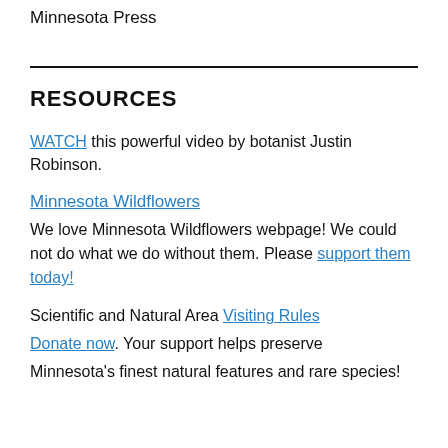Minnesota Press
RESOURCES
WATCH this powerful video by botanist Justin Robinson.
Minnesota Wildflowers
We love Minnesota Wildflowers webpage! We could not do what we do without them. Please support them today!
Scientific and Natural Area Visiting Rules
Donate now. Your support helps preserve Minnesota's finest natural features and rare species!